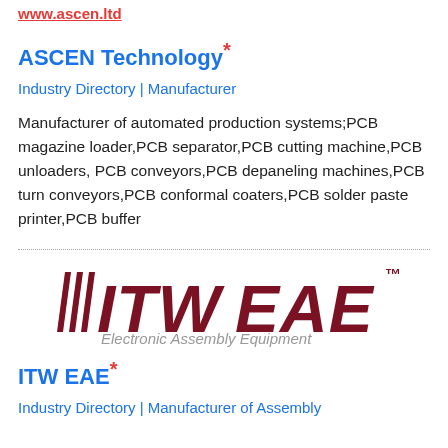www.ascen.ltd
ASCEN Technology*
Industry Directory | Manufacturer
Manufacturer of automated production systems;PCB magazine loader,PCB separator,PCB cutting machine,PCB unloaders, PCB conveyors,PCB depaneling machines,PCB turn conveyors,PCB conformal coaters,PCB solder paste printer,PCB buffer
[Figure (logo): ITW EAE logo with slanted lines, italic bold dark red text 'ITW EAE' and subtitle 'Electronic Assembly Equipment' in gray italic]
ITW EAE*
Industry Directory | Manufacturer of Assembly